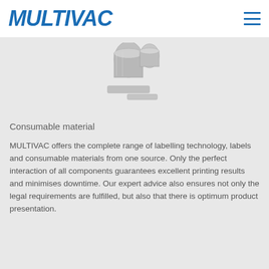MULTIVAC
[Figure (photo): Product photo showing consumable materials including ink ribbon rolls and flat components for labelling technology, displayed on a light grey background.]
Consumable material
MULTIVAC offers the complete range of labelling technology, labels and consumable materials from one source. Only the perfect interaction of all components guarantees excellent printing results and minimises downtime. Our expert advice also ensures not only the legal requirements are fulfilled, but also that there is optimum product presentation.